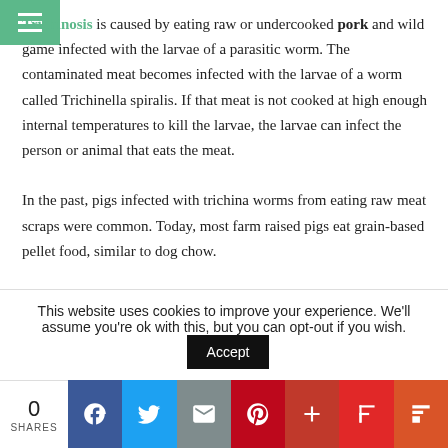hamburger menu icon (green bar)
Trichinosis is caused by eating raw or undercooked pork and wild game infected with the larvae of a parasitic worm. The contaminated meat becomes infected with the larvae of a worm called Trichinella spiralis. If that meat is not cooked at high enough internal temperatures to kill the larvae, the larvae can infect the person or animal that eats the meat.

In the past, pigs infected with trichina worms from eating raw meat scraps were common. Today, most farm raised pigs eat grain-based pellet food, similar to dog chow.

Organically raised pigs munch grass. It's illegal to feed raw meat to
This website uses cookies to improve your experience. We'll assume you're ok with this, but you can opt-out if you wish. [Accept]
0 SHARES | Facebook | Twitter | Email | Pinterest | + | Flipboard | Mix